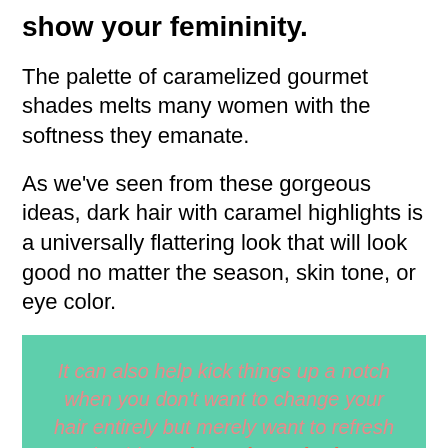show your femininity.
The palette of caramelized gourmet shades melts many women with the softness they emanate.
As we've seen from these gorgeous ideas, dark hair with caramel highlights is a universally flattering look that will look good no matter the season, skin tone, or eye color.
It can also help kick things up a notch when you don't want to change your hair entirely but merely want to refresh it a bit. So let us know in the comment section below which one